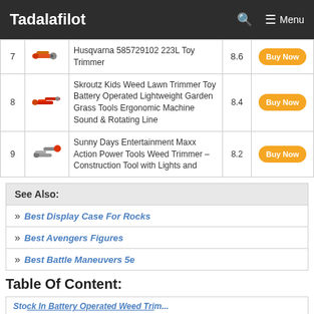Tadalafilot | Menu
| # | Image | Name | Score | Action |
| --- | --- | --- | --- | --- |
| 7 | [img] | Husqvarna 585729102 223L Toy Trimmer | 8.6 | Buy Now |
| 8 | [img] | Skroutz Kids Weed Lawn Trimmer Toy Battery Operated Lightweight Garden Grass Tools Ergonomic Machine Sound & Rotating Line | 8.4 | Buy Now |
| 9 | [img] | Sunny Days Entertainment Maxx Action Power Tools Weed Trimmer – Construction Tool with Lights and | 8.2 | Buy Now |
See Also:
Best Display Case For Rocks
Best Avengers Figures
Best Battle Maneuvers 5e
Table Of Content:
Stock In Battery Operated Weed Trimmer...